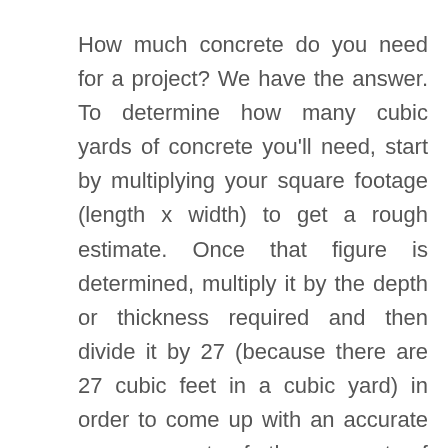How much concrete do you need for a project? We have the answer. To determine how many cubic yards of concrete you'll need, start by multiplying your square footage (length x width) to get a rough estimate. Once that figure is determined, multiply it by the depth or thickness required and then divide it by 27 (because there are 27 cubic feet in a cubic yard) in order to come up with an accurate measurement of the amount of material that will be necessary.
You might also like our articles about the cost of